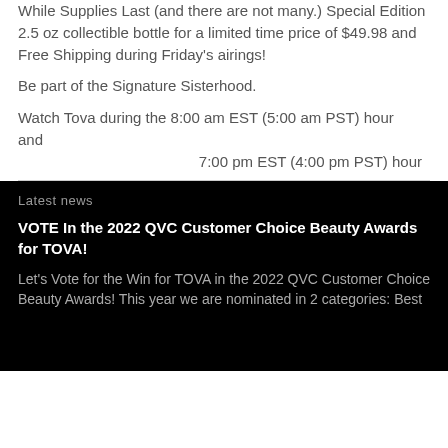While Supplies Last (and there are not many.) Special Edition 2.5 oz collectible bottle for a limited time price of $49.98 and Free Shipping during Friday's airings!
Be part of the Signature Sisterhood.
Watch Tova during the 8:00 am EST (5:00 am PST) hour  and
7:00 pm EST (4:00 pm PST) hour
Latest news
VOTE In the 2022 QVC Customer Choice Beauty Awards for TOVA!
Let's Vote for the Win for TOVA in the 2022 QVC Customer Choice Beauty Awards! This year we are nominated in 2 categories: Best